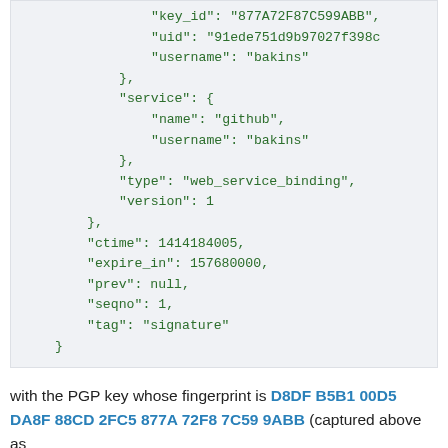"key_id": "877A72F87C599ABB",
"uid": "91ede751d9b97027f398c
"username": "bakins"
},
"service": {
    "name": "github",
    "username": "bakins"
},
"type": "web_service_binding",
"version": 1
},
"ctime": 1414184005,
"expire_in": 157680000,
"prev": null,
"seqno": 1,
"tag": "signature"
}
with the PGP key whose fingerprint is D8DF B5B1 00D5 DA8F 88CD 2FC5 877A 72F8 7C59 9ABB (captured above as